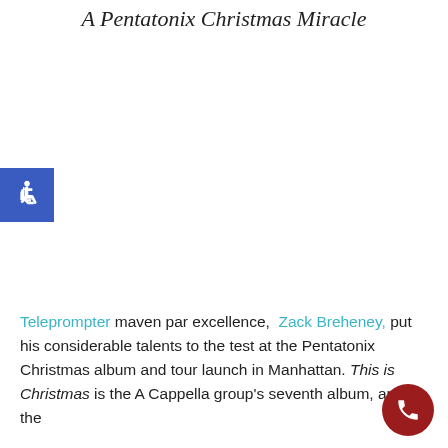A Pentatonix Christmas Miracle
[Figure (illustration): Accessibility (wheelchair) icon — white symbol on blue square background]
Teleprompter maven par excellence, Zack Breheney, put his considerable talents to the test at the Pentatonix Christmas album and tour launch in Manhattan. This is Christmas is the A Cappella group's seventh album, and the